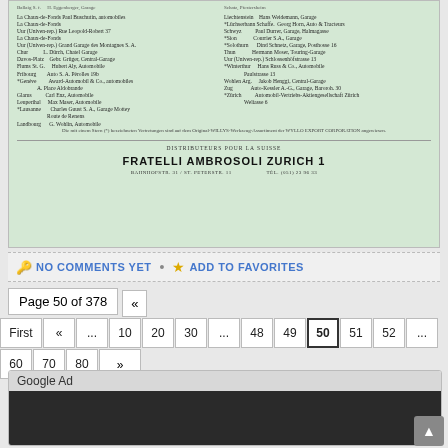[Figure (other): Scanned document page showing a list of Swiss automobile distributors in two columns, with bold header 'DISTRIBUTEURS POUR LA SUISSE FRATELLI AMBROSOLI ZURICH 1' and address details at the bottom. Document has green-tinted background.]
NO COMMENTS YET • ADD TO FAVORITES
Page 50 of 378 «
First « ... 10 20 30 ... 48 49 50 51 52 ... 60 70 80 »
Google Ad